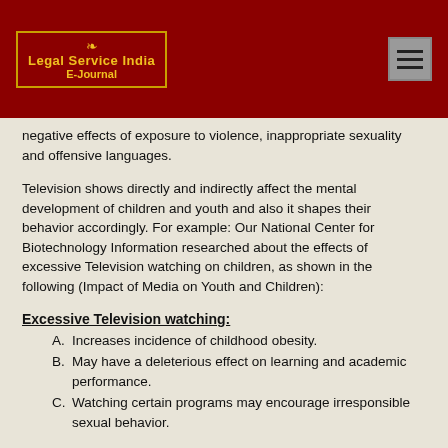Legal Service India E-Journal
negative effects of exposure to violence, inappropriate sexuality and offensive languages.
Television shows directly and indirectly affect the mental development of children and youth and also it shapes their behavior accordingly. For example: Our National Center for Biotechnology Information researched about the effects of excessive Television watching on children, as shown in the following (Impact of Media on Youth and Children):
Excessive Television watching:
A. Increases incidence of childhood obesity.
B. May have a deleterious effect on learning and academic performance.
C. Watching certain programs may encourage irresponsible sexual behavior.
Raising a lot of violence on Television increases